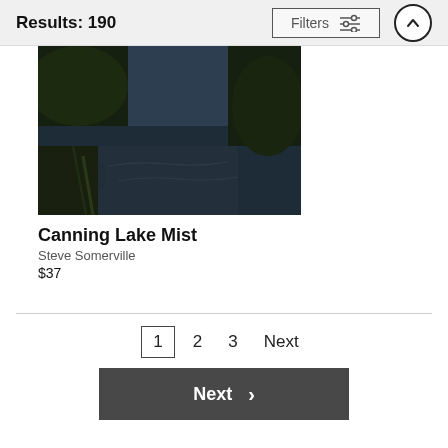Results: 190
[Figure (photo): Dark moody photo of Canning Lake with mist, trees and rocks visible around a dark still body of water]
Canning Lake Mist
Steve Somerville
$37
1  2  3  Next
Next >